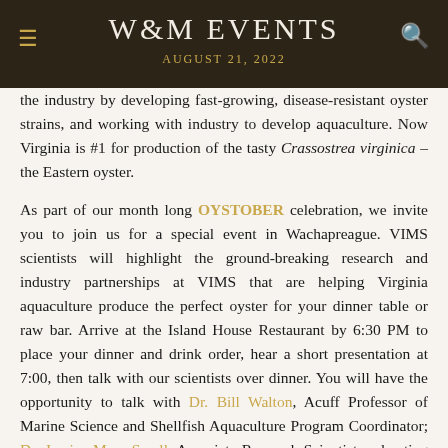W&M EVENTS
AUGUST 21, 2022
the industry by developing fast-growing, disease-resistant oyster strains, and working with industry to develop aquaculture. Now Virginia is #1 for production of the tasty Crassostrea virginica – the Eastern oyster.
As part of our month long OYSTOBER celebration, we invite you to join us for a special event in Wachapreague. VIMS scientists will highlight the ground-breaking research and industry partnerships at VIMS that are helping Virginia aquaculture produce the perfect oyster for your dinner table or raw bar. Arrive at the Island House Restaurant by 6:30 PM to place your dinner and drink order, hear a short presentation at 7:00, then talk with our scientists over dinner. You will have the opportunity to talk with Dr. Bill Walton, Acuff Professor of Marine Science and Shellfish Aquaculture Program Coordinator; Dr. Jessica Moss Small, Associate Research Scientist and acting Director of the Aquaculture Genetics and Breeding Technology Center; Karen Hudson, Shellfish Aquaculture Specialist; and Dr. Ryan Carnegie, Research Professor and head of the Shellfish